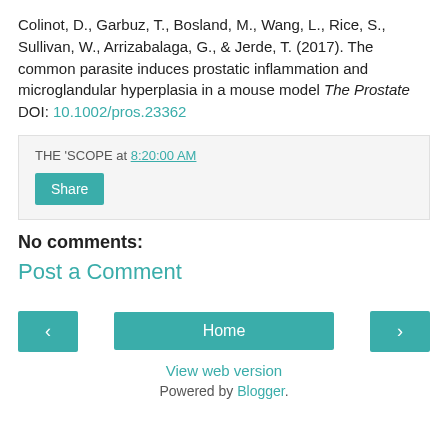Colinot, D., Garbuz, T., Bosland, M., Wang, L., Rice, S., Sullivan, W., Arrizabalaga, G., & Jerde, T. (2017). The common parasite induces prostatic inflammation and microglandular hyperplasia in a mouse model The Prostate DOI: 10.1002/pros.23362
THE 'SCOPE at 8:20:00 AM
Share
No comments:
Post a Comment
< Home > View web version Powered by Blogger.